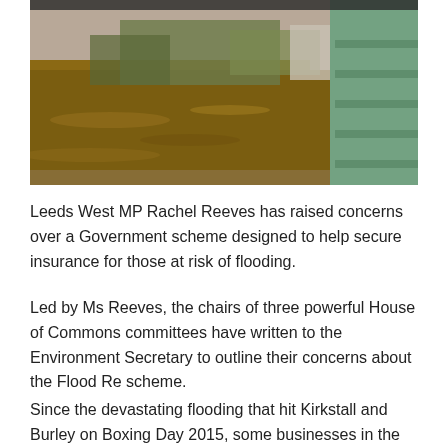[Figure (photo): A flooded river scene viewed from a bridge with murky brown water and green bridge railings visible on the right side.]
Leeds West MP Rachel Reeves has raised concerns over a Government scheme designed to help secure insurance for those at risk of flooding.
Led by Ms Reeves, the chairs of three powerful House of Commons committees have written to the Environment Secretary to outline their concerns about the Flood Re scheme.
Since the devastating flooding that hit Kirkstall and Burley on Boxing Day 2015, some businesses in the Kirkstall Road area have seen their insurance premiums double, and others are